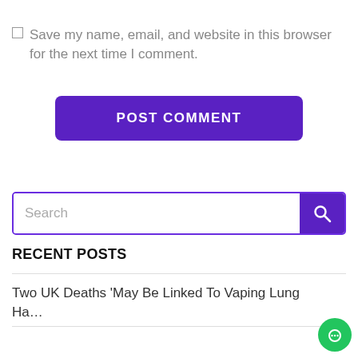Save my name, email, and website in this browser for the next time I comment.
[Figure (other): POST COMMENT button — purple rounded rectangle with white bold uppercase text]
[Figure (other): Search bar with purple border and purple search button with magnifying glass icon]
RECENT POSTS
Two UK Deaths ‘May Be Linked To Vaping Lung Ha…
[Figure (other): Green circular chat/support button in bottom-right corner]